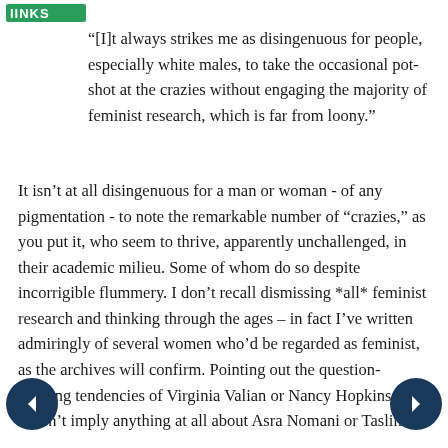IINKS
“[I]t always strikes me as disingenuous for people, especially white males, to take the occasional pot-shot at the crazies without engaging the majority of feminist research, which is far from loony.”
It isn’t at all disingenuous for a man or woman - of any pigmentation - to note the remarkable number of “crazies,” as you put it, who seem to thrive, apparently unchallenged, in their academic milieu. Some of whom do so despite incorrigible flummery. I don’t recall dismissing *all* feminist research and thinking through the ages – in fact I’ve written admiringly of several women who’d be regarded as feminist, as the archives will confirm. Pointing out the question-begging tendencies of Virginia Valian or Nancy Hopkins doesn’t imply anything at all about Asra Nomani or Taslima Nasrin. I certainly can’t imagine referring to “crazy feminazi bitches” or anything comparable. And as I’m not dismissing every piece of work produced by every single feminist, living or